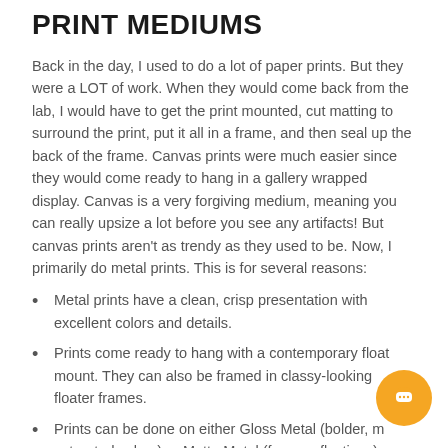PRINT MEDIUMS
Back in the day, I used to do a lot of paper prints.  But they were a LOT of work.  When they would come back from the lab, I would have to get the print mounted, cut matting to surround the print, put it all in a frame, and then seal up the back of the frame.  Canvas prints were much easier since they would come ready to hang in a gallery wrapped display.  Canvas is a very forgiving medium, meaning you can really upsize a lot before you see any artifacts!  But canvas prints aren't as trendy as they used to be. Now, I primarily do metal prints. This is for several reasons:
Metal prints have a clean, crisp presentation with excellent colors and details.
Prints come ready to hang with a contemporary float mount. They can also be framed in classy-looking floater frames.
Prints can be done on either Gloss Metal (bolder, more saturated colors) or Matte Metal (fewer reflections).
Chromaluxe Metal is scratch resistant, can be cleaned